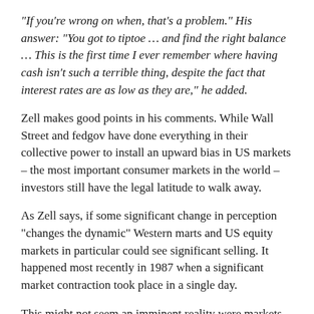"If you're wrong on when, that's a problem." His answer: "You got to tiptoe … and find the right balance … This is the first time I ever remember where having cash isn't such a terrible thing, despite the fact that interest rates are as low as they are," he added.
Zell makes good points in his comments. While Wall Street and fedgov have done everything in their collective power to install an upward bias in US markets – the most important consumer markets in the world – investors still have the legal latitude to walk away.
As Zell says, if some significant change in perception "changes the dynamic" Western marts and US equity markets in particular could see significant selling. It happened most recently in 1987 when a significant market contraction took place in a single day.
This might not seem an imminent reality were markets not making higher highs after an expansion that has gone on for at least five years.